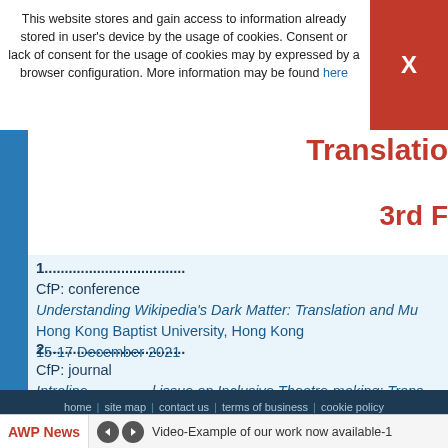This website stores and gain access to information already stored in user's device by the usage of cookies. Consent or lack of consent for the usage of cookies may by expressed by a browser configuration. More information may be found here
X
Translatio
3rd F
1.....
CfP: conference
Understanding Wikipedia's Dark Matter: Translation and Mu
Hong Kong Baptist University, Hong Kong
15-17 December 2021
2.....
CfP: journal
Intraline special issue on Inclusive Theatre-making: Trans
Contact giovanni@unimc.it, francesca.raffi@unimc
3.....
CfP: journal
Current Trends in Translation Teaching and Learning E
home | site map | contact us | terms of business | cookie policy
AWP News   Video-Example of our work now available-1